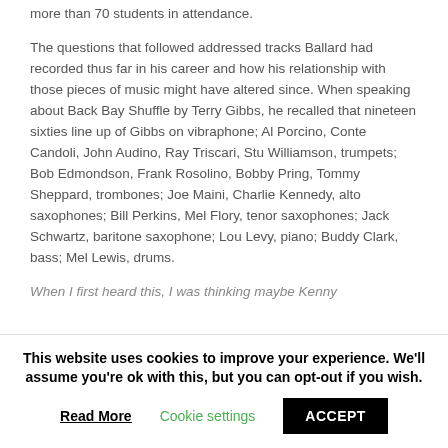more than 70 students in attendance.
The questions that followed addressed tracks Ballard had recorded thus far in his career and how his relationship with those pieces of music might have altered since. When speaking about Back Bay Shuffle by Terry Gibbs, he recalled that nineteen sixties line up of Gibbs on vibraphone; Al Porcino, Conte Candoli, John Audino, Ray Triscari, Stu Williamson, trumpets; Bob Edmondson, Frank Rosolino, Bobby Pring, Tommy Sheppard, trombones; Joe Maini, Charlie Kennedy, alto saxophones; Bill Perkins, Mel Flory, tenor saxophones; Jack Schwartz, baritone saxophone; Lou Levy, piano; Buddy Clark, bass; Mel Lewis, drums.
When I first heard this, I was thinking maybe Kenny...
This website uses cookies to improve your experience. We'll assume you're ok with this, but you can opt-out if you wish.